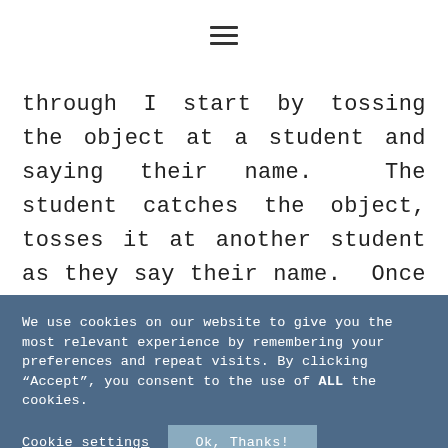[Figure (other): Hamburger menu icon (three horizontal lines) in the page header]
through I start by tossing the object at a student and saying their name.  The student catches the object, tosses it at another student as they say their name.  Once they are done they sit down.  This chain keeps going until everyone has had
We use cookies on our website to give you the most relevant experience by remembering your preferences and repeat visits. By clicking “Accept”, you consent to the use of ALL the cookies.
Cookie settings Ok, Thanks!